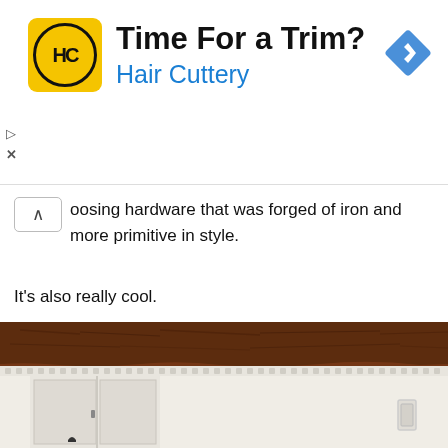[Figure (infographic): Hair Cuttery advertisement banner with yellow/black HC logo, headline 'Time For a Trim?' and subtext 'Hair Cuttery', with a blue diamond navigation icon on the right.]
ooosing hardware that was forged of iron and more primitive in style.
It's also really cool.
[Figure (photo): Interior architectural photo showing a dark brown wooden beam above white wainscoting trim molding and a white paneled door. A rectangular light switch plate is visible on the right wall.]